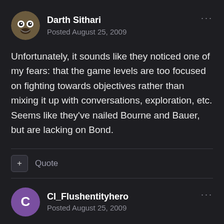Darth Sithari
Posted August 25, 2009
Unfortunately, it sounds like they noticed one of my fears: that the game levels are too focused on fighting towards objectives rather than mixing it up with conversations, exploration, etc. Seems like they've nailed Bourne and Bauer, but are lacking on Bond.
+ Quote
CI_Flushentityhero
Posted August 25, 2009